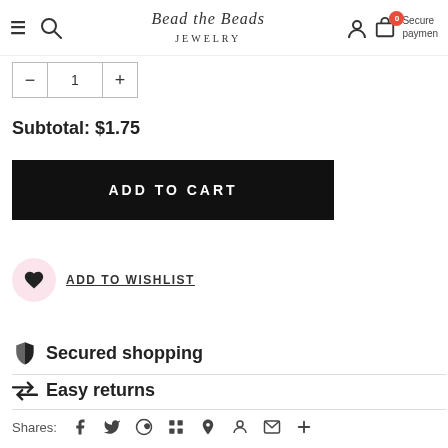Bead the Beads Jewelry — navigation bar with hamburger menu, search, logo, user, cart (0), Secure payment
Subtotal: $1.75
ADD TO CART
ADD TO WISHLIST
Secured shopping
Easy returns
Shares: